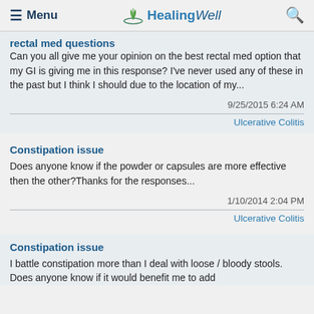Menu | HealingWell
rectal med questions
Can you all give me your opinion on the best rectal med option that my GI is giving me in this response? I've never used any of these in the past but I think I should due to the location of my...
9/25/2015 6:24 AM
Ulcerative Colitis
Constipation issue
Does anyone know if the powder or capsules are more effective then the other?Thanks for the responses...
1/10/2014 2:04 PM
Ulcerative Colitis
Constipation issue
I battle constipation more than I deal with loose / bloody stools. Does anyone know if it would benefit me to add...